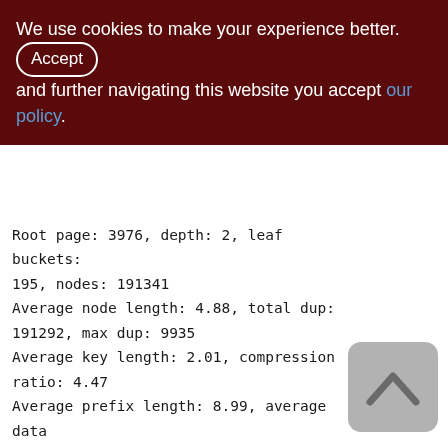We use cookies to make your experience better. By clicking Accept and further navigating this website you accept our policy.
Root page: 3976, depth: 2, leaf buckets: 195, nodes: 191341
Average node length: 4.88, total dup: 191292, max dup: 9935
Average key length: 2.01, compression ratio: 4.47
Average prefix length: 8.99, average data length: 0.01
Clustering factor: 26623, ratio: 0.14
Fill distribution:
0 - 19% = 0
20 - 39% = 15
40 - 59% = 106